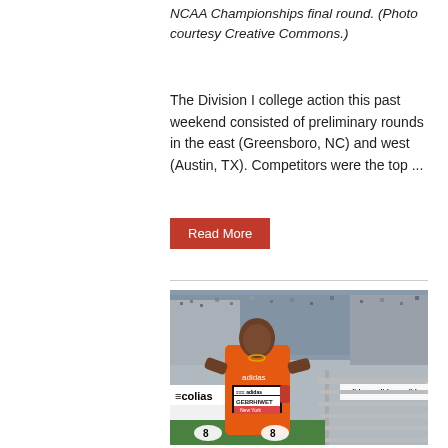NCAA Championships final round. (Photo courtesy Creative Commons.)
The Division I college action this past weekend consisted of preliminary rounds in the east (Greensboro, NC) and west (Austin, TX). Competitors were the top ...
Read More
[Figure (photo): Photo of a runner named Gebrhiwet wearing an orange Adidas jersey with bib number 8 and name tag reading 'GEBRHIWET New York', standing in front of Adidas-branded barriers at a stadium track event with a crowd in the background.]